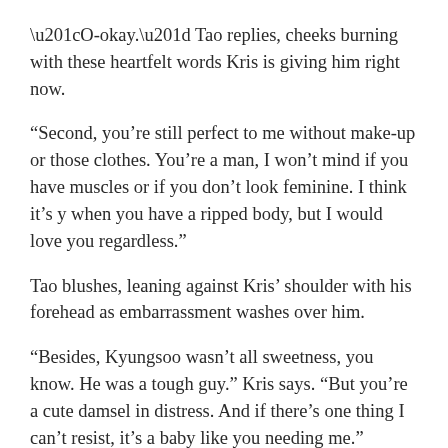“O-okay.” Tao replies, cheeks burning with these heartfelt words Kris is giving him right now.
“Second, you’re still perfect to me without make-up or those clothes. You’re a man, I won’t mind if you have muscles or if you don’t look feminine. I think it’s y when you have a ripped body, but I would love you regardless.”
Tao blushes, leaning against Kris’ shoulder with his forehead as embarrassment washes over him.
“Besides, Kyungsoo wasn’t all sweetness, you know. He was a tough guy.” Kris says. “But you’re a cute damsel in distress. And if there’s one thing I can’t resist, it’s a baby like you needing me.”
Kris kisses his forehead again, yet this time feels a whole lot more special.